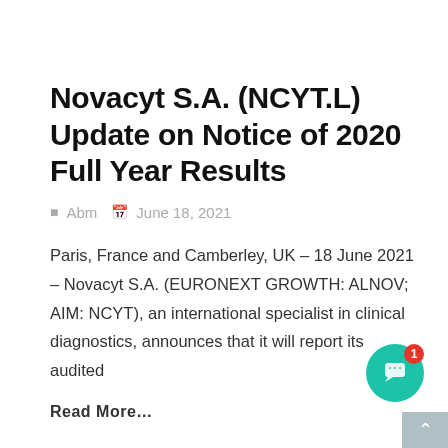Novacyt S.A. (NCYT.L) Update on Notice of 2020 Full Year Results
Abm  June 18, 2021
Paris, France and Camberley, UK – 18 June 2021 – Novacyt S.A. (EURONEXT GROWTH: ALNOV; AIM: NCYT), an international specialist in clinical diagnostics, announces that it will report its audited
Read More…